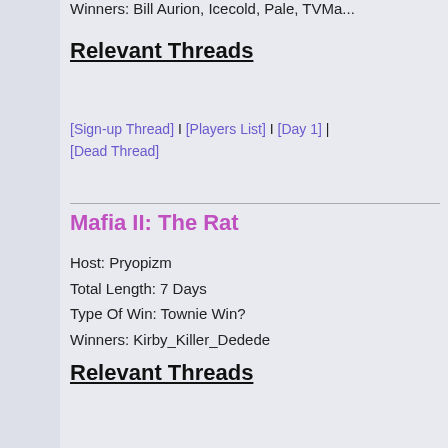Winners: Bill Aurion, Icecold, Pale, TVMa...
Relevant Threads
[Sign-up Thread] I [Players List] I [Day 1] | [Dead Thread]
Mafia II: The Rat
Host: Pryopizm
Total Length: 7 Days
Type Of Win: Townie Win?
Winners: Kirby_Killer_Dedede
Relevant Threads
[Announcement] I [Sign-up Thread] I [Play... [Dead Thread]
Mafia III: Operation Revoluci...
Host: Pyropizm
Total Length: 6 Days